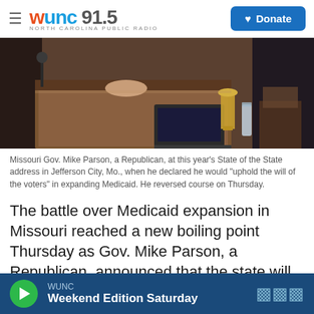WUNC 91.5 NORTH CAROLINA PUBLIC RADIO | Donate
[Figure (photo): Missouri Gov. Mike Parson seated at a podium in a legislative chamber during the State of the State address in Jefferson City, Missouri.]
Missouri Gov. Mike Parson, a Republican, at this year's State of the State address in Jefferson City, Mo., when he declared he would "uphold the will of the voters" in expanding Medicaid. He reversed course on Thursday.
The battle over Medicaid expansion in Missouri reached a new boiling point Thursday as Gov. Mike Parson, a Republican, announced that the state will not implement expansion, in defiance of a ballot
WUNC | Weekend Edition Saturday